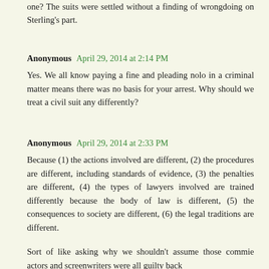one? The suits were settled without a finding of wrongdoing on Sterling's part.
Anonymous April 29, 2014 at 2:14 PM
Yes. We all know paying a fine and pleading nolo in a criminal matter means there was no basis for your arrest. Why should we treat a civil suit any differently?
Anonymous April 29, 2014 at 2:33 PM
Because (1) the actions involved are different, (2) the procedures are different, including standards of evidence, (3) the penalties are different, (4) the types of lawyers involved are trained differently because the body of law is different, (5) the consequences to society are different, (6) the legal traditions are different.
Sort of like asking why we shouldn't assume those commie actors and screenwriters were all guilty back